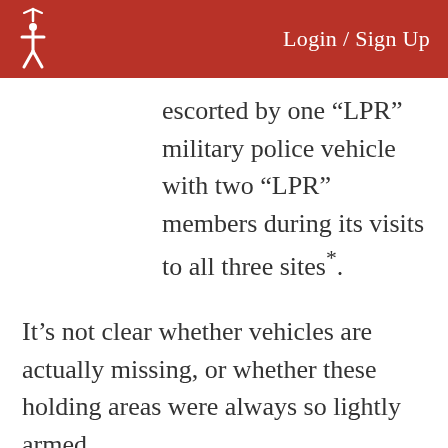Login / Sign Up
escorted by one “LPR” military police vehicle with two “LPR” members during its visits to all three sites*.
It’s not clear whether vehicles are actually missing, or whether these holding areas were always so lightly armed.
Though it’s not directly related to combat, it appears that Ukraine is not